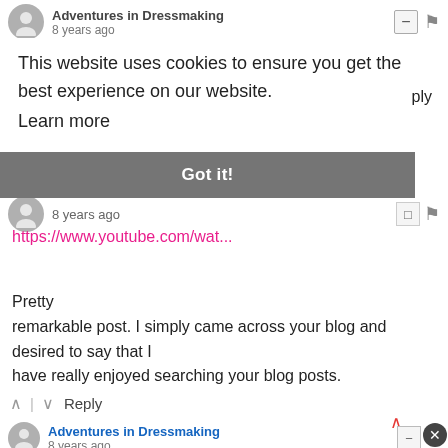Adventures in Dressmaking
8 years ago
This website uses cookies to ensure you get the best experience on our website. Learn more
ply
Got it!
8 years ago
https://www.youtube.com/wat...
Pretty remarkable post. I simply came across your blog and desired to say that I have really enjoyed searching your blog posts.
Reply
Adventures in Dressmaking
8 years ago
congratulations guys, quality information you have given!!!